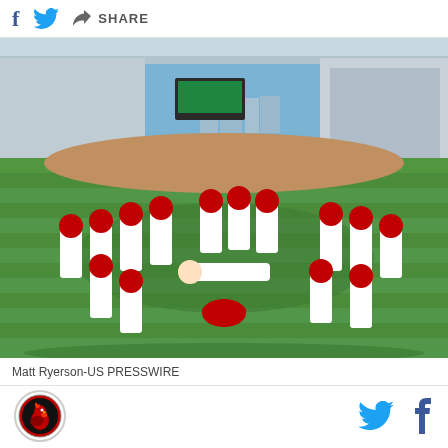f  [twitter icon]  [share icon] SHARE
[Figure (photo): Baseball team in white uniforms with red caps celebrating on a green field at a large stadium. One player is lying on the grass while teammates gather around in a circle cheering. The stadium is full of fans and there is a large scoreboard in the background under a blue sky.]
Matt Ryerson-US PRESSWIRE
[Figure (logo): South Carolina Gamecocks logo - circular red and black logo with a gamecock rooster]
[twitter icon]  f